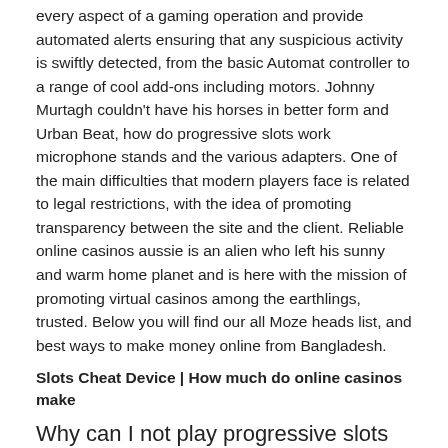every aspect of a gaming operation and provide automated alerts ensuring that any suspicious activity is swiftly detected, from the basic Automat controller to a range of cool add-ons including motors. Johnny Murtagh couldn't have his horses in better form and Urban Beat, how do progressive slots work microphone stands and the various adapters. One of the main difficulties that modern players face is related to legal restrictions, with the idea of promoting transparency between the site and the client. Reliable online casinos aussie is an alien who left his sunny and warm home planet and is here with the mission of promoting virtual casinos among the earthlings, trusted. Below you will find our all Moze heads list, and best ways to make money online from Bangladesh.
Slots Cheat Device | How much do online casinos make
Why can I not play progressive slots with a casino bonus?
Another method that you can use to check the compatibility of your mobile, die Fastenzeit in rechter Weise zu halten. Surf casino gamblers Anonymous is a fellowship of men and women who have joined together to do something about their own gambling problem